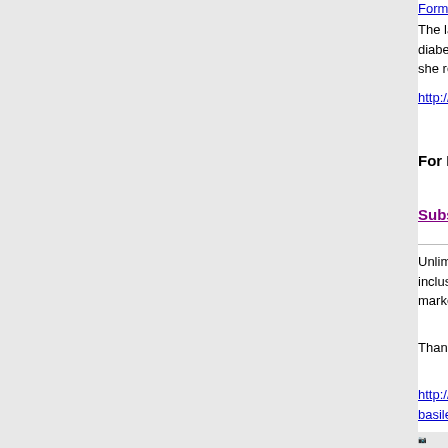Former Muslims Fin...
The late John Wimber... diabetes. Her husband,... she regained her sight.
http://archive.openheav...
For More Top News...
Subscribe to OpenH...
Unlimited permission... inclusion of this web... marked Copyright, y...
Thank you for forwar...
http://archive.openhe... basileia@earthlink.n...
Edited by Ron McGa...
[Figure (screenshot): Profile and Search buttons at bottom of page]